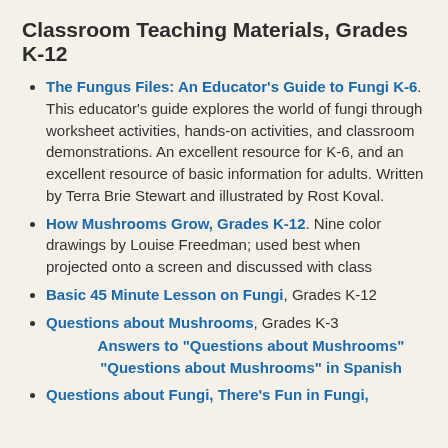Classroom Teaching Materials, Grades K-12
The Fungus Files: An Educator's Guide to Fungi K-6. This educator's guide explores the world of fungi through worksheet activities, hands-on activities, and classroom demonstrations. An excellent resource for K-6, and an excellent resource of basic information for adults. Written by Terra Brie Stewart and illustrated by Rost Koval.
How Mushrooms Grow, Grades K-12. Nine color drawings by Louise Freedman; used best when projected onto a screen and discussed with class
Basic 45 Minute Lesson on Fungi, Grades K-12
Questions about Mushrooms, Grades K-3
Answers to “Questions about Mushrooms”
“Questions about Mushrooms” in Spanish
Questions about Fungi, There’s Fun in Fungi,